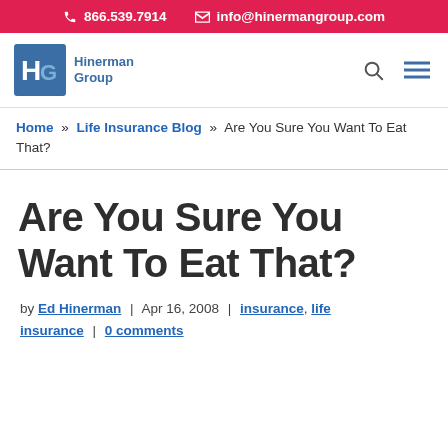866.539.7914  info@hinermangroup.com
[Figure (logo): Hinerman Group logo with stylized HG monogram and text 'Hinerman Group']
Home » Life Insurance Blog » Are You Sure You Want To Eat That?
Are You Sure You Want To Eat That?
by Ed Hinerman | Apr 16, 2008 | insurance, life insurance | 0 comments